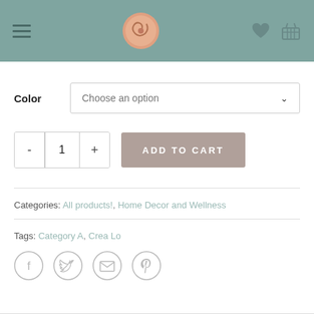[Figure (screenshot): E-commerce product page screenshot showing navigation header with hamburger menu, circular snail logo, heart wishlist icon, and basket icon on a teal background. Below: Color selector dropdown, quantity selector with minus/plus buttons, Add to Cart button, category and tag metadata, and social sharing icons.]
Color
Choose an option
ADD TO CART
Categories: All products!, Home Decor and Wellness
Tags: Category A, Crea Lo